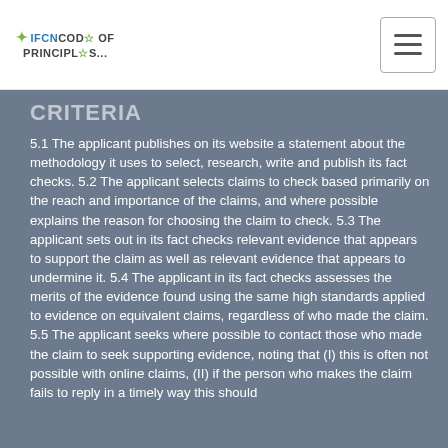IFCN CODE OF PRINCIPLES
5.1 The applicant publishes on its website a statement about the methodology it uses to select, research, write and publish its fact checks.
5.2 The applicant selects claims to check based primarily on the reach and importance of the claims, and where possible explains the reason for choosing the claim to check.
5.3 The applicant sets out in its fact checks relevant evidence that appears to support the claim as well as relevant evidence that appears to undermine it.
5.4 The applicant in its fact checks assesses the merits of the evidence found using the same high standards applied to evidence on equivalent claims, regardless of who made the claim.
5.5 The applicant seeks where possible to contact those who made the claim to seek supporting evidence, noting that (I) this is often not possible with online claims, (II) if the person who makes the claim fails to reply in a timely way this should